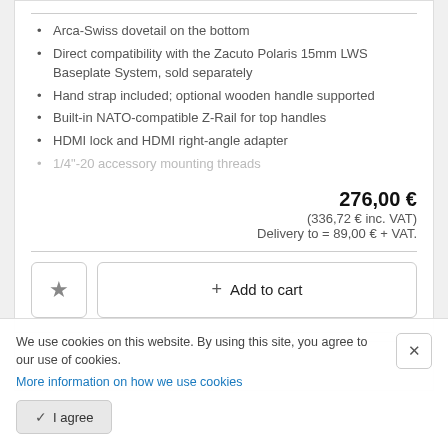Arca-Swiss dovetail on the bottom
Direct compatibility with the Zacuto Polaris 15mm LWS Baseplate System, sold separately
Hand strap included; optional wooden handle supported
Built-in NATO-compatible Z-Rail for top handles
HDMI lock and HDMI right-angle adapter
1/4"-20 accessory mounting threads
276,00 €
(336,72 € inc. VAT)
Delivery to = 89,00 € + VAT.
We use cookies on this website. By using this site, you agree to our use of cookies.
More information on how we use cookies
I agree